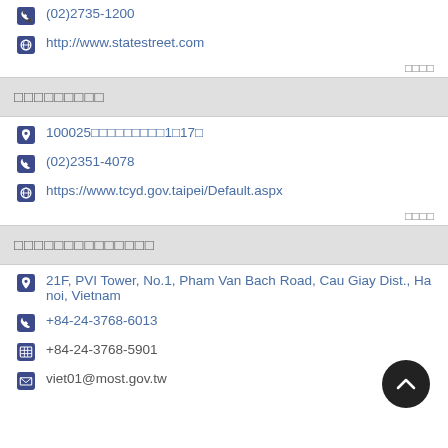(02)2735-1200
http://www.statestreet.com
□□□□
□□□□□□□□□
100025□□□□□□□□□1□17□
(02)2351-4078
https://www.tcyd.gov.taipei/Default.aspx
□□□□
□□□□□□□□□□□□□□
21F, PVI Tower, No.1, Pham Van Bach Road, Cau Giay Dist., Hanoi, Vietnam
+84-24-3768-6013
+84-24-3768-5901
viet01@most.gov.tw